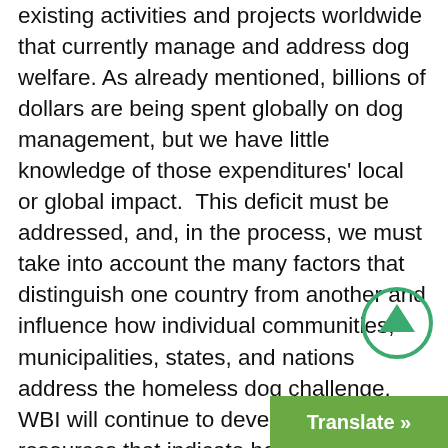existing activities and projects worldwide that currently manage and address dog welfare. As already mentioned, billions of dollars are being spent globally on dog management, but we have little knowledge of those expenditures' local or global impact.  This deficit must be addressed, and, in the process, we must take into account the many factors that distinguish one country from another and influence how individual communities, municipalities, states, and nations address the homeless dog challenge.  WBI will continue to develop data resources that indicate how specific countries are progressing along the track to en
[Figure (other): Green circular scroll-to-top button with an upward arrow icon]
[Figure (other): Green 'Translate »' button in the bottom-right corner]